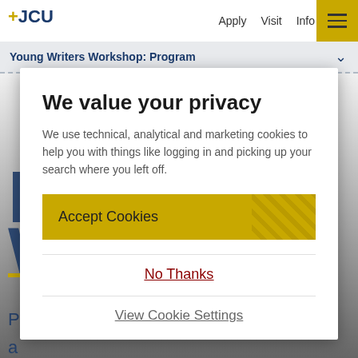+JCU   Apply   Visit   Info
Young Writers Workshop: Program
We value your privacy
We use technical, analytical and marketing cookies to help you with things like logging in and picking up your search where you left off.
Accept Cookies
No Thanks
View Cookie Settings